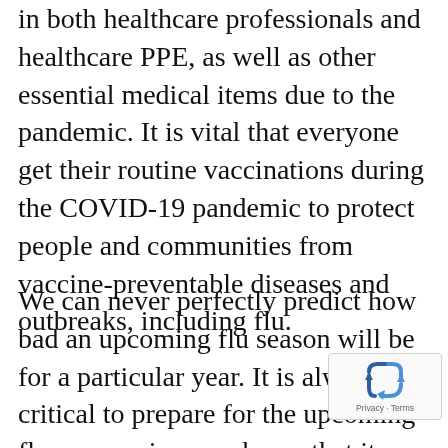in both healthcare professionals and healthcare PPE, as well as other essential medical items due to the pandemic. It is vital that everyone get their routine vaccinations during the COVID-19 pandemic to protect people and communities from vaccine-preventable diseases and outbreaks, including flu.
We can never perfectly predict how bad an upcoming flu season will be for a particular year. It is always critical to prepare for the upcoming flu season since we know that it can lead to high morbidity and mortality for certain populations. It will be even more important this year to reduce flu because it can help reduce the overall impact of respiratory illnesses on the population and thus lessen the resulting
[Figure (logo): reCAPTCHA badge with recycling-arrows icon and Privacy - Terms text]